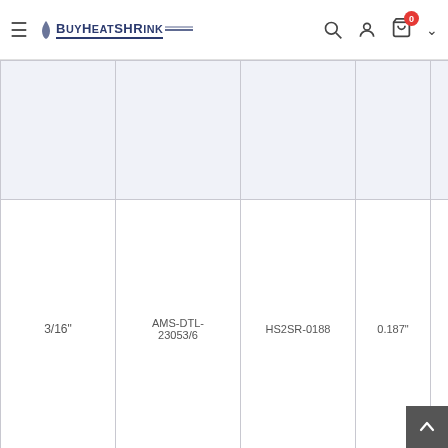BuyHeatShrink — navigation bar with search, account, cart (0 items)
| Size | MIL Spec Part # | Part # | ID | Wall |
| --- | --- | --- | --- | --- |
|  |  |  |  |  |
| 3/16" | AMS-DTL-23053/6 | HS2SR-0188 | 0.187" | 0.094" |